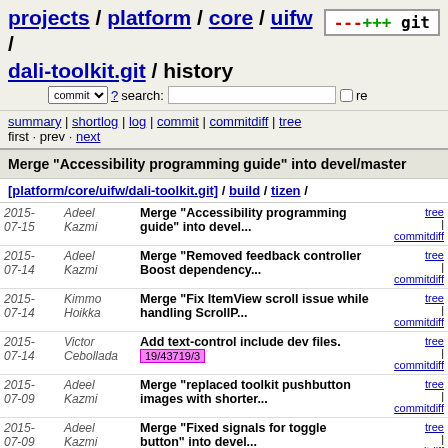projects / platform / core / uifw / dali-toolkit.git / history
summary | shortlog | log | commit | commitdiff | tree
first · prev · next
Merge "Accessibility programming guide" into devel/master
[platform/core/uifw/dali-toolkit.git] / build / tizen /
| Date | Author | Message | Links |
| --- | --- | --- | --- |
| 2015-07-15 | Adeel Kazmi | Merge "Accessibility programming guide" into devel... | tree | commitdiff |
| 2015-07-14 | Adeel Kazmi | Merge "Removed feedback controller Boost dependency... | tree | commitdiff |
| 2015-07-14 | Kimmo Hoikka | Merge "Fix ItemView scroll issue while handling ScrollP... | tree | commitdiff |
| 2015-07-14 | Victor Cebollada | Add text-control include dev files. 19/43719/3 | tree | commitdiff |
| 2015-07-09 | Adeel Kazmi | Merge "replaced toolkit pushbutton images with shorter... | tree | commitdiff |
| 2015-07-09 | Adeel Kazmi | Merge "Fixed signals for toggle button" into devel... | tree | commitdiff |
| 2015-07-08 | Paul Wisbey | Merge "TextSelection Popup Styling Image update and... | tree | commitdiff |
| 2015-07-09 | Agnelo Vaz | Configure which platform style to use | tree | commitdiff |